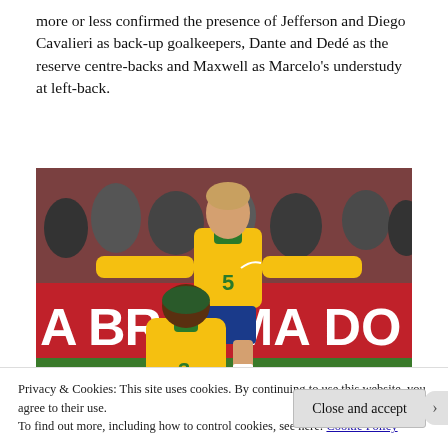more or less confirmed the presence of Jefferson and Diego Cavalieri as back-up goalkeepers, Dante and Dedé as the reserve centre-backs and Maxwell as Marcelo's understudy at left-back.
[Figure (photo): Two Brazilian football players on a pitch. Player in foreground wears yellow jersey with number 3, player in background wears yellow jersey with number 5 and spreads arms wide. Red advertising hoarding in background reads 'A BRAHMA DO'.]
Privacy & Cookies: This site uses cookies. By continuing to use this website, you agree to their use.
To find out more, including how to control cookies, see here: Cookie Policy